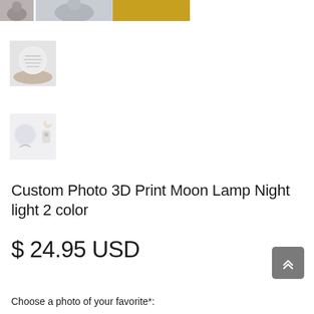[Figure (photo): Product thumbnail images row at top: small dark thumbnail of person holding item, wide composite image of person with plaid shirt and orange background]
[Figure (photo): Thumbnail of hands holding a glowing moon lamp with text engraving]
[Figure (photo): Thumbnail of 3D moon lamp product with remote and accessories]
Custom Photo 3D Print Moon Lamp Night light 2 color
$ 24.95 USD
Choose a photo of your favorite*: